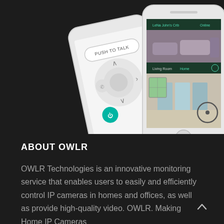[Figure (photo): Two white smartphones displayed on a dark background. The left phone shows a camera control interface with directional buttons and a 'PUSH TO TALK' label. The right phone shows a multi-camera monitoring view with labeled feeds including 'LeNa John's Crib' and 'Living Room Home', displaying bedroom, living room, and storage room camera feeds.]
ABOUT OWLR
OWLR Technologies is an innovative monitoring service that enables users to easily and efficiently control IP cameras in homes and offices, as well as provide high-quality video. OWLR. Making Home IP Cameras